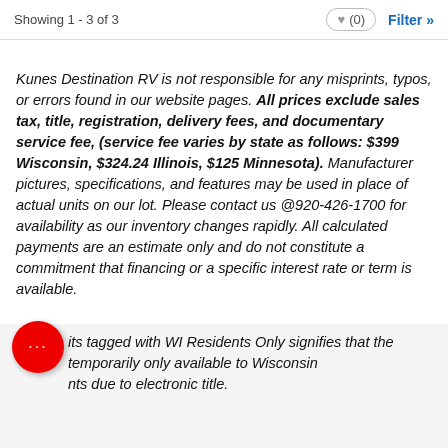Showing 1 - 3 of 3   ♥ (0)   Filter »
Kunes Destination RV is not responsible for any misprints, typos, or errors found in our website pages. All prices exclude sales tax, title, registration, delivery fees, and documentary service fee, (service fee varies by state as follows: $399 Wisconsin, $324.24 Illinois, $125 Minnesota). Manufacturer pictures, specifications, and features may be used in place of actual units on our lot. Please contact us @920-426-1700 for availability as our inventory changes rapidly. All calculated payments are an estimate only and do not constitute a commitment that financing or a specific interest rate or term is available.
* Units tagged with WI Residents Only signifies that the unit is temporarily only available to Wisconsin residents due to electronic title.